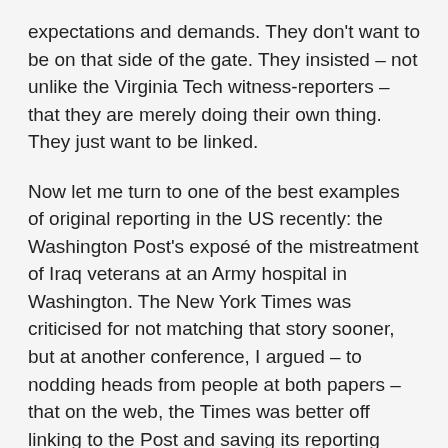expectations and demands. They don't want to be on that side of the gate. They insisted – not unlike the Virginia Tech witness-reporters – that they are merely doing their own thing. They just want to be linked.
Now let me turn to one of the best examples of original reporting in the US recently: the Washington Post's exposé of the mistreatment of Iraq veterans at an Army hospital in Washington. The New York Times was criticised for not matching that story sooner, but at another conference, I argued – to nodding heads from people at both papers – that on the web, the Times was better off linking to the Post and saving its reporting resources to uncover its own critical stories. The Times had a journalistic obligation to send traffic and support to the Post, to journalism at its source. I've similarly argued that newspapers should stop wasting resources covering what everybody else covers just to feed their institutional ego under their own bylines. They should stand out not by